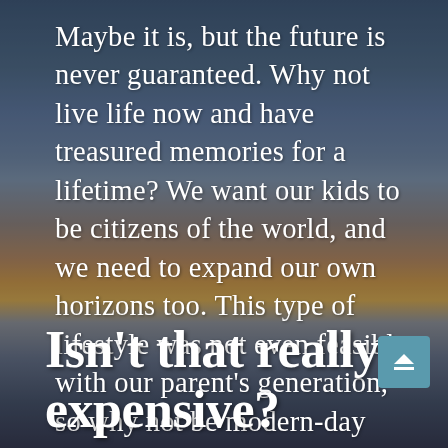Maybe it is, but the future is never guaranteed. Why not live life now and have treasured memories for a lifetime? We want our kids to be citizens of the world, and we need to expand our own horizons too. This type of lifestyle was not even feasible with our parent's generation, so why not be modern-day digital pioneers?
Isn't that really expensive?